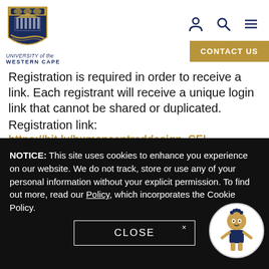[Figure (logo): University of the Western Cape shield logo and text]
Registration is required in order to receive a link. Each registrant will receive a unique login link that cannot be shared or duplicated.
Registration link:
https://bit.ly/humancentreddesign_CEI
This webinar is being hosted by the UWC Centre for
NOTICE: This site uses cookies to enhance you experience on our website. We do not track, store or use any of your personal information without your explicit permission. To find out more, read our Policy, which incorporates the Cookie Policy.